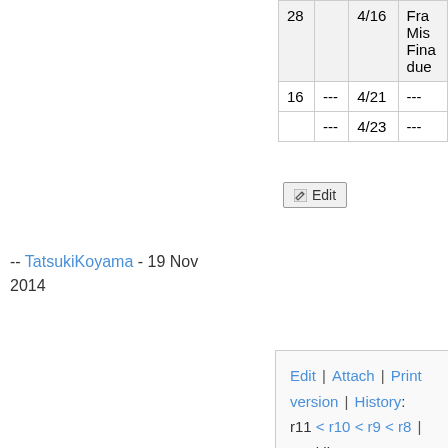|  |  |  |  |
| --- | --- | --- | --- |
| 28 |  | 4/16 | Fra... Mis... Fina... due... |
| 16 | --- | 4/21 | --- |
|  | --- | 4/23 | --- |
Edit
-- TatsukiKoyama - 19 Nov 2014
Edit | Attach | Print version | History: r11 < r10 < r9 < r8 | Backlinks | View wiki text | Edit wiki text | More topic actions